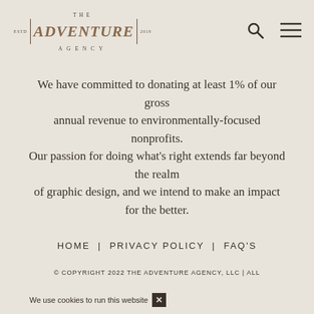[Figure (logo): The Adventure Agency logo with ESTD, vertical dividers, adventure text in italic serif, 2019, and AGENCY text below]
We have committed to donating at least 1% of our gross annual revenue to environmentally-focused nonprofits. Our passion for doing what's right extends far beyond the realm of graphic design, and we intend to make an impact for the better.
HOME | PRIVACY POLICY | FAQ'S
© COPYRIGHT 2022 THE ADVENTURE AGENCY, LLC | ALL
We use cookies to run this website × By continuing, you agree to our use